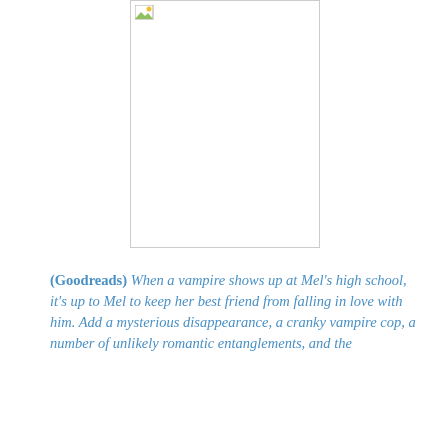[Figure (photo): A book cover image placeholder (broken/missing image icon visible in top-left corner of a white rectangle with border)]
(Goodreads) When a vampire shows up at Mel's high school, it's up to Mel to keep her best friend from falling in love with him. Add a mysterious disappearance, a cranky vampire cop, a number of unlikely romantic entanglements, and the